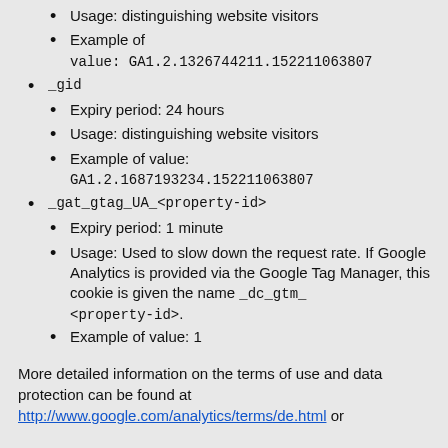Usage: distinguishing website visitors
Example of value: GA1.2.1326744211.152211063807
_gid
Expiry period: 24 hours
Usage: distinguishing website visitors
Example of value: GA1.2.1687193234.152211063807
_gat_gtag_UA_<property-id>
Expiry period: 1 minute
Usage: Used to slow down the request rate. If Google Analytics is provided via the Google Tag Manager, this cookie is given the name _dc_gtm_<property-id>.
Example of value: 1
More detailed information on the terms of use and data protection can be found at http://www.google.com/analytics/terms/de.html or